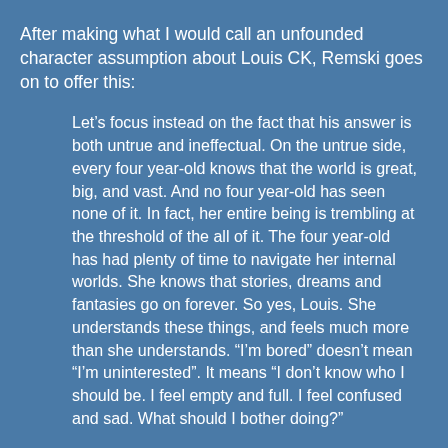After making what I would call an unfounded character assumption about Louis CK, Remski goes on to offer this:
Let’s focus instead on the fact that his answer is both untrue and ineffectual. On the untrue side, every four year-old knows that the world is great, big, and vast. And no four year-old has seen none of it. In fact, her entire being is trembling at the threshold of the all of it. The four year-old has had plenty of time to navigate her internal worlds. She knows that stories, dreams and fantasies go on forever. So yes, Louis. She understands these things, and feels much more than she understands. “I’m bored” doesn’t mean “I’m uninterested”. It means “I don’t know who I should be. I feel empty and full. I feel confused and sad. What should I bother doing?”
On the ineffectual side, the answer pretends to kindle the girl’s wonderment, but it actually burns the tender green of her attention. She’s being i...